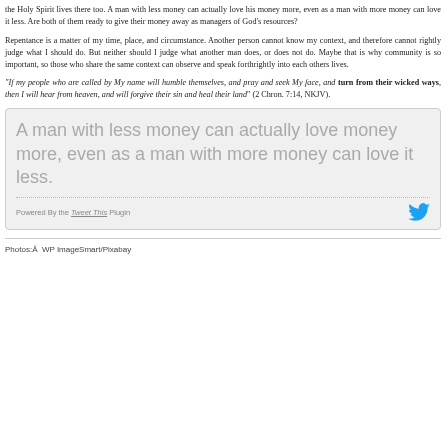the Holy Spirit lives there too. A man with less money can actually love his money more, even as a man with more money can love it less. Are both of them ready to give their money away as managers of God's resources?
Repentance is a matter of my time, place, and circumstance. Another person cannot know my context, and therefore cannot rightly judge what I should do. But neither should I judge what another man does, or does not do. Maybe that is why community is so important, so those who share the same context can observe and speak forthrightly into each others lives.
“If my people who are called by My name will humble themselves, and pray and seek My face, and turn from their wicked ways, then I will hear from heaven, and will forgive their sin and heal their land” (2 Chron. 7:14, NKJV).
[Figure (other): Tweet This plugin box with large pullquote text: 'A man with less money can actually love money more, even as a man with more money can love it less.' Powered By the Tweet This Plugin, with Twitter bird icon.]
Photos:Â  WP ImageSmart/Pixabay